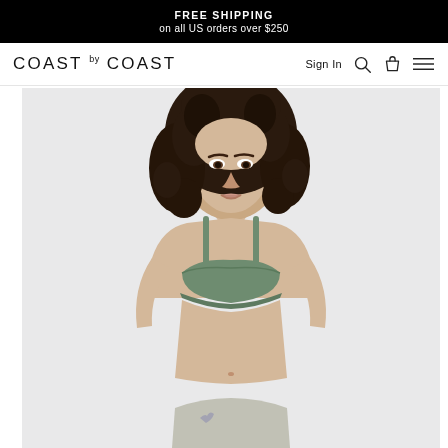FREE SHIPPING on all US orders over $250
COAST by COAST
Sign In
[Figure (photo): Model wearing a sage/olive green bikini top bralette against a light grey background, shown from head to mid-torso with curly dark hair]